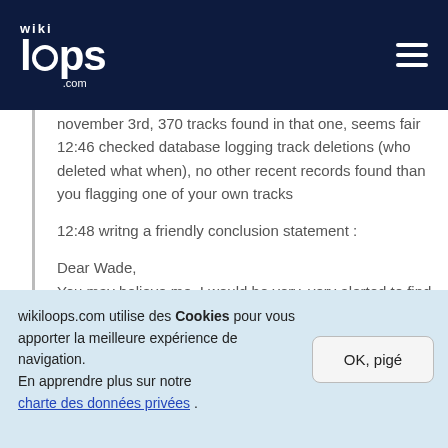wikiloops.com
november 3rd, 370 tracks found in that one, seems fair
12:46 checked database logging track deletions (who deleted what when), no other recent records found than you flagging one of your own tracks

12:48 writng a friendly conclusion statement :

Dear Wade,
You may believe me, I would be very, very alerted to find out tracks were "disappearing" from wikiloops, but after checking, i'm quite sure that is not the case.
There are quite a lot of security measures taken to prevent loss of precious tracks,
wikiloops.com utilise des Cookies pour vous apporter la meilleure expérience de navigation. En apprendre plus sur notre charte des données privées .